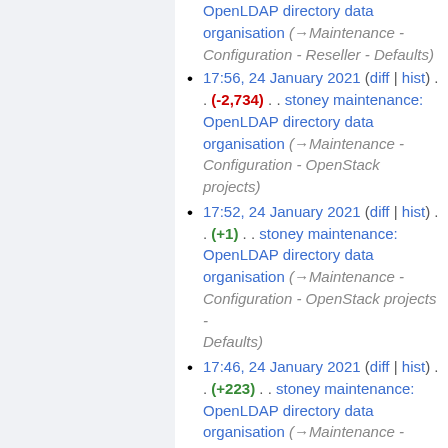OpenLDAP directory data organisation (→Maintenance - Configuration - Reseller - Defaults)
17:56, 24 January 2021 (diff | hist) . . (-2,734) . . stoney maintenance: OpenLDAP directory data organisation (→Maintenance - Configuration - OpenStack projects)
17:52, 24 January 2021 (diff | hist) . . (+1) . . stoney maintenance: OpenLDAP directory data organisation (→Maintenance - Configuration - OpenStack projects - Defaults)
17:46, 24 January 2021 (diff | hist) . . (+223) . . stoney maintenance: OpenLDAP directory data organisation (→Maintenance - Configuration - Customers - Defaults)
17:29, 24 January 2021 (diff | hist) . . (0) . . stoney maintenance: OpenLDAP directory data organisation